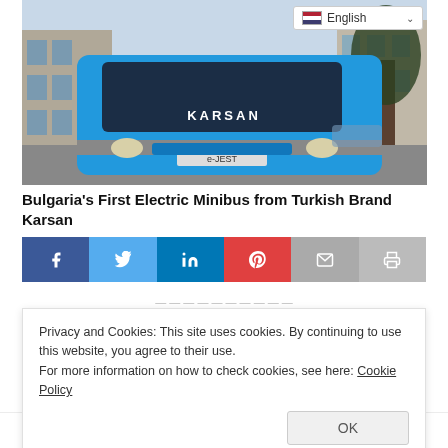[Figure (photo): Front view of a blue Karsan e-JEST electric minibus on a cobblestone street with trees and buildings in the background. A language selector (English) is visible in the top-right.]
Bulgaria's First Electric Minibus from Turkish Brand Karsan
[Figure (infographic): Social media share bar with buttons for Facebook, Twitter, LinkedIn, Pinterest, Email, and Print]
Privacy and Cookies: This site uses cookies. By continuing to use this website, you agree to their use.
For more information on how to check cookies, see here: Cookie Policy
purchased by Dobrich Municipality with European funding,